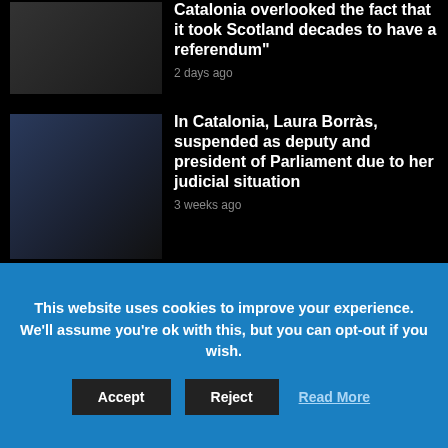Catalonia overlooked the fact that it took Scotland decades to have a referendum"
2 days ago
[Figure (photo): Photo of a man in a dark suit at a table]
In Catalonia, Laura Borràs, suspended as deputy and president of Parliament due to her judicial situation
3 weeks ago
[Figure (photo): Photo of Laura Borràs and another person clapping outdoors]
Imagine: Barcelona is back!
[Figure (photo): Photo of a structure silhouetted against sky]
This website uses cookies to improve your experience. We'll assume you're ok with this, but you can opt-out if you wish.
Accept
Reject
Read More